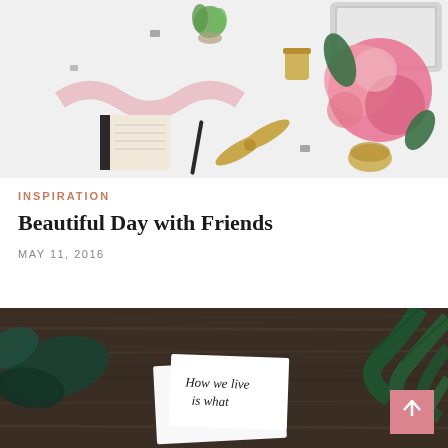[Figure (photo): Flat lay photo of a desk workspace with scissors, flowers (pink peonies), notebook, ribbon, laptop, and stationery items on a white background]
INSPIRATION
Beautiful Day with Friends
MAY 11, 2016
[Figure (photo): Dark wooden table with green tropical leaves and white cards with handwritten text 'How we live is what']